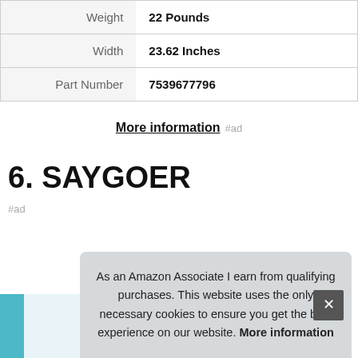|  |  |
| --- | --- |
| Weight | 22 Pounds |
| Width | 23.62 Inches |
| Part Number | 7539677796 |
More information #ad
6. SAYGOER
#ad
As an Amazon Associate I earn from qualifying purchases. This website uses the only necessary cookies to ensure you get the best experience on our website. More information